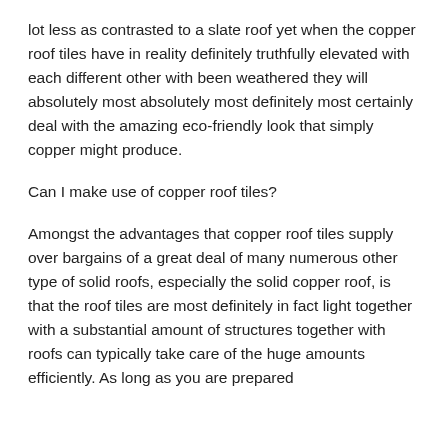lot less as contrasted to a slate roof yet when the copper roof tiles have in reality definitely truthfully elevated with each different other with been weathered they will absolutely most absolutely most definitely most certainly deal with the amazing eco-friendly look that simply copper might produce.
Can I make use of copper roof tiles?
Amongst the advantages that copper roof tiles supply over bargains of a great deal of many numerous other type of solid roofs, especially the solid copper roof, is that the roof tiles are most definitely in fact light together with a substantial amount of structures together with roofs can typically take care of the huge amounts efficiently. As long as you are prepared